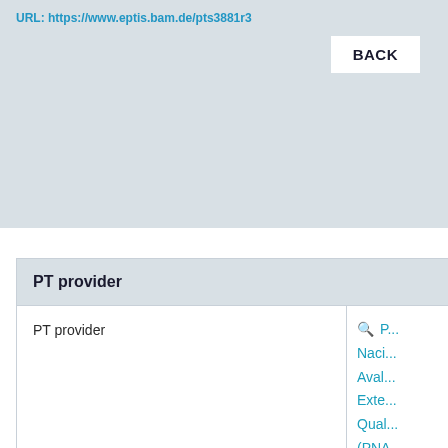URL: https://www.eptis.bam.de/pts3881r3
BACK
| PT provider |
| --- |
| PT provider | P...
Naci...
Aval...
Exter...
Qual...
(PNA...
DEP... |
| Based in | Port... |
| Language(s) | Port... |